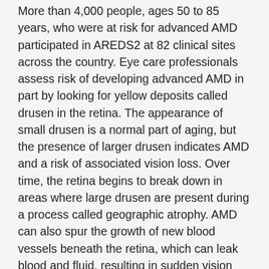More than 4,000 people, ages 50 to 85 years, who were at risk for advanced AMD participated in AREDS2 at 82 clinical sites across the country. Eye care professionals assess risk of developing advanced AMD in part by looking for yellow deposits called drusen in the retina. The appearance of small drusen is a normal part of aging, but the presence of larger drusen indicates AMD and a risk of associated vision loss. Over time, the retina begins to break down in areas where large drusen are present during a process called geographic atrophy. AMD can also spur the growth of new blood vessels beneath the retina, which can leak blood and fluid, resulting in sudden vision loss. These two forms of AMD are often referred to as dry AMD and wet AMD respectively.
In a separate study, published online today in JAMA Ophthalmology, the AREDS2 Research Group